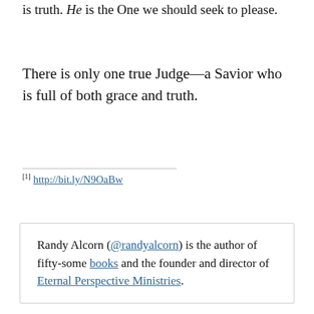is truth. He is the One we should seek to please.
There is only one true Judge—a Savior who is full of both grace and truth.
[1] http://bit.ly/N9OaBw
Randy Alcorn (@randyalcorn) is the author of fifty-some books and the founder and director of Eternal Perspective Ministries.